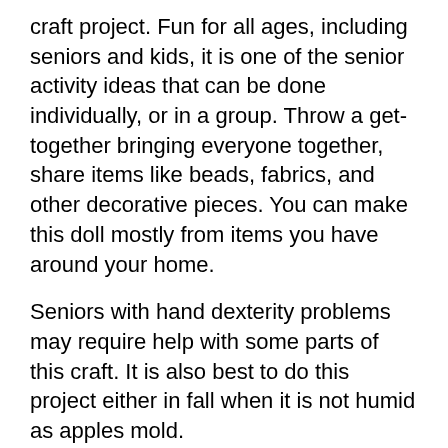craft project. Fun for all ages, including seniors and kids, it is one of the senior activity ideas that can be done individually, or in a group. Throw a get-together bringing everyone together, share items like beads, fabrics, and other decorative pieces. You can make this doll mostly from items you have around your home.
Seniors with hand dexterity problems may require help with some parts of this craft. It is also best to do this project either in fall when it is not humid as apples mold.
List of Items:
A large sized, firm apple (or two)
Bottle of lemon juice
2 Tbsp of salt
Small knife for carving the face